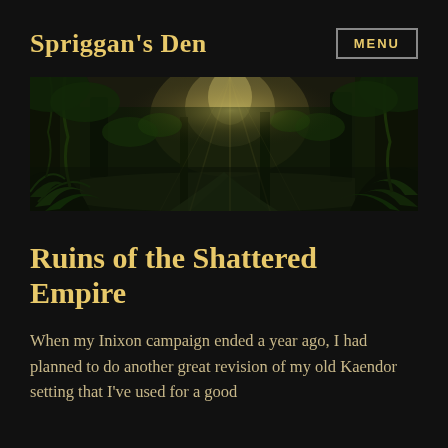Spriggan's Den
[Figure (illustration): A lush, atmospheric fantasy forest scene with tall ancient trees, ferns, and shafts of light filtering through the canopy. A path leads toward a bright background. Dark and moody cinematic art.]
Ruins of the Shattered Empire
When my Inixon campaign ended a year ago, I had planned to do another great revision of my old Kaendor setting that I've used for a good